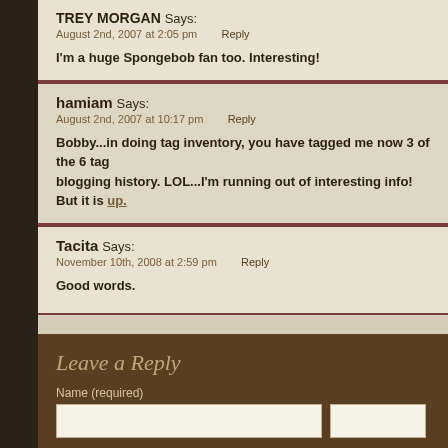TREY MORGAN Says:
August 2nd, 2007 at 2:05 pm   Reply
I'm a huge Spongebob fan too. Interesting!
hamiam Says:
August 2nd, 2007 at 10:17 pm   Reply
Bobby...in doing tag inventory, you have tagged me now 3 of the 6 tag blogging history. LOL...I'm running out of interesting info! But it is up.
Tacita Says:
November 10th, 2008 at 2:59 pm   Reply
Good words.
Leave a Reply
Name (required)